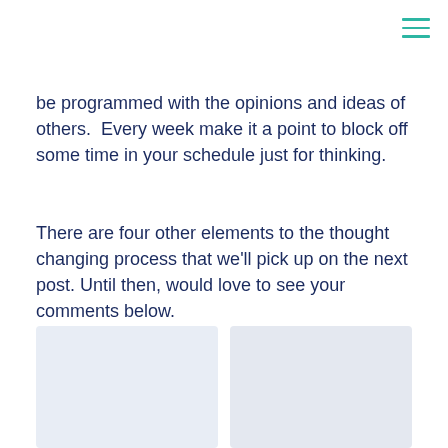be programmed with the opinions and ideas of others.  Every week make it a point to block off some time in your schedule just for thinking.
There are four other elements to the thought changing process that we'll pick up on the next post. Until then, would love to see your comments below.
-RG
[Figure (other): Two rectangular placeholder image areas side by side at the bottom of the page]